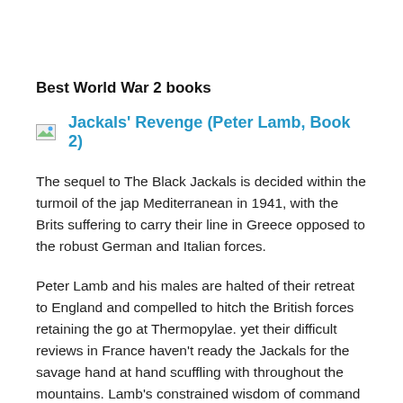Best World War 2 books
[Figure (other): Broken image placeholder icon for book cover]
Jackals' Revenge (Peter Lamb, Book 2)
The sequel to The Black Jackals is decided within the turmoil of the jap Mediterranean in 1941, with the Brits suffering to carry their line in Greece opposed to the robust German and Italian forces.
Peter Lamb and his males are halted of their retreat to England and compelled to hitch the British forces retaining the go at Thermopylae. yet their difficult reviews in France haven't ready the Jackals for the savage hand at hand scuffling with throughout the mountains. Lamb's constrained wisdom of command